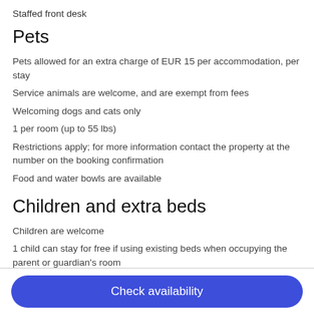Staffed front desk
Pets
Pets allowed for an extra charge of EUR 15 per accommodation, per stay
Service animals are welcome, and are exempt from fees
Welcoming dogs and cats only
1 per room (up to 55 lbs)
Restrictions apply; for more information contact the property at the number on the booking confirmation
Food and water bowls are available
Children and extra beds
Children are welcome
1 child can stay for free if using existing beds when occupying the parent or guardian's room
Check availability